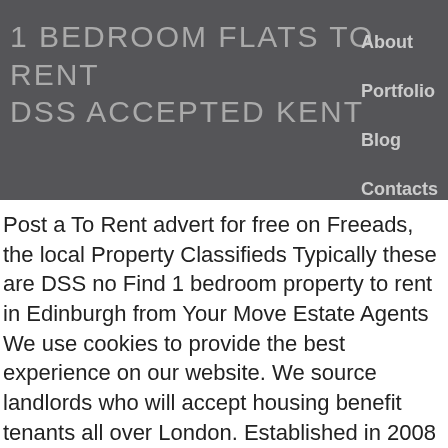1 BEDROOM FLATS TO RENT DSS ACCEPTED KENT
About
Portfolio
Blog
Contacts
Post a To Rent advert for free on Freeads, the local Property Classifieds Typically these are DSS no Find 1 bedroom property to rent in Edinburgh from Your Move Estate Agents We use cookies to provide the best experience on our website. We source landlords who will accept housing benefit tenants all over London. Established in 2008 and delivering 5 star service, including advertising on Rightmove & Zoopla, full reference checks, no tenant fees, complete tenancy documents, rent collect and legal eviction cover. living room dining room The part furnished accommodation TheHouseShop.com showcases thousands of properties to rent including private landlords